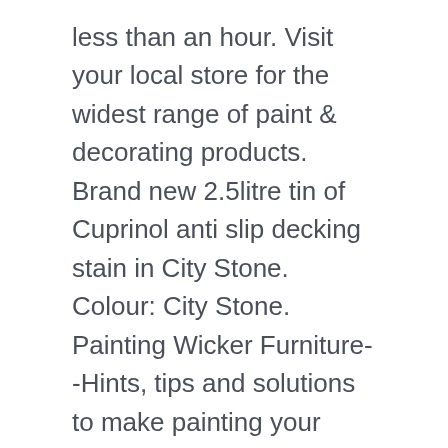less than an hour. Visit your local store for the widest range of paint & decorating products. Brand new 2.5litre tin of Cuprinol anti slip decking stain in City Stone. Colour: City Stone. Painting Wicker Furniture--Hints, tips and solutions to make painting your wicker a breeze and looking like it was done by a pro! Decking Stain paint store for all your decking colour, treatment & protection for immediate despatch. From wood stains to paints for sheds, furniture and sheds, shop Cuprinol at The Range for great prices. Additional. Credit subject to status, UK residents only, Toolstation Ltd, acts as a broker and offers finance from a restricted range of finance providers, PayPal Credit is a trading